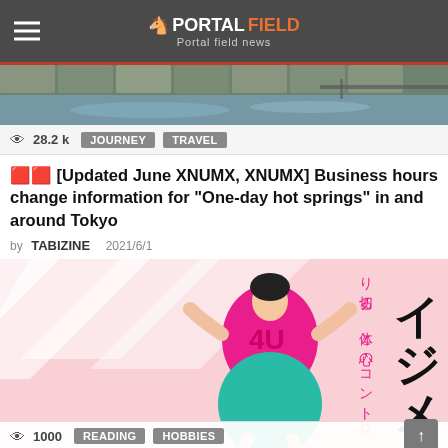PORTAL FIELD - Portal field news
[Figure (photo): Top banner photo showing a hot spring or pool with stone tiles and water reflection]
👁 28.2 k   JOURNEY   TRAVEL
🔴🔴 [Updated June XNUMX, XNUMX] Business hours change information for "One-day hot springs" in and around Tokyo
by TABIZINE   2021/6/1
[Figure (illustration): Japanese illustration showing a person in a pink top and teal skirt with Japanese text on right side reading り切る、体と心のコントロ and large katakana イジメ on the far right]
👁 1000   READING   HOBBIES